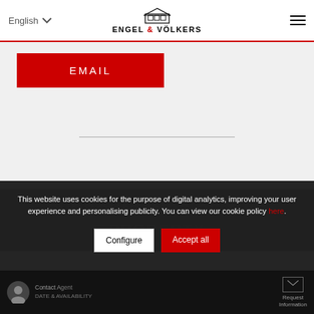English | ENGEL & VÖLKERS
EMAIL
[Figure (other): Horizontal divider line]
SURROUNDINGS OF THIS PROPERTY
This website uses cookies for the purpose of digital analytics, improving your user experience and personalising publicity. You can view our cookie policy here.
Configure
Accept all
Contact Agent | Request Information